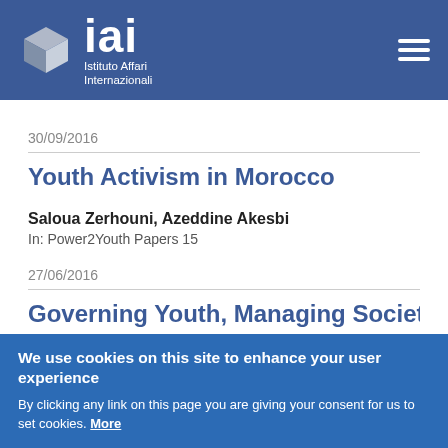[Figure (logo): IAI - Istituto Affari Internazionali logo with cube icon and hamburger menu on blue header bar]
30/09/2016
Youth Activism in Morocco
Saloua Zerhouni, Azeddine Akesbi
In: Power2Youth Papers 15
27/06/2016
Governing Youth, Managing Society
We use cookies on this site to enhance your user experience
By clicking any link on this page you are giving your consent for us to set cookies. More